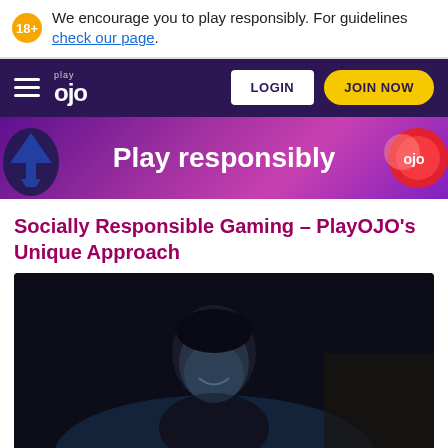We encourage you to play responsibly. For guidelines check our page.
[Figure (screenshot): PlayOJO casino website navigation bar with hamburger menu, PlayOJO logo, LOGIN button, and JOIN NOW button on dark purple background]
Play responsibly
Socially Responsible Gaming – PlayOJO's Unique Approach
[Figure (photo): Dark photograph of a young man smiling while illuminated by a screen glow in a dark room]